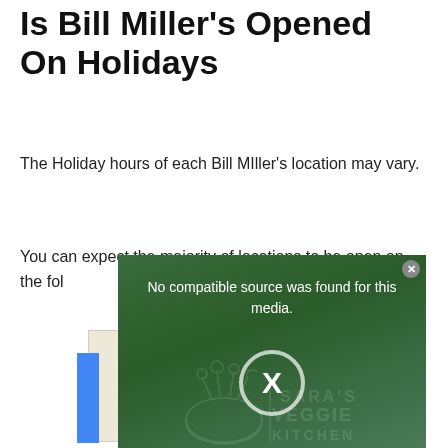Is Bill Miller's Opened On Holidays
The Holiday hours of each Bill MIller's location may vary.
You can expect the majority of locations to be open on the fol
[Figure (screenshot): Video player overlay showing 'No compatible source was found for this media.' with Sara's Veggie Kitchen logo watermark and X close button, overlaid on a partial Google Maps view]
[Figure (map): Google Maps snippet showing a location pin (red dot) on a street, with road labeled 'over Rd']